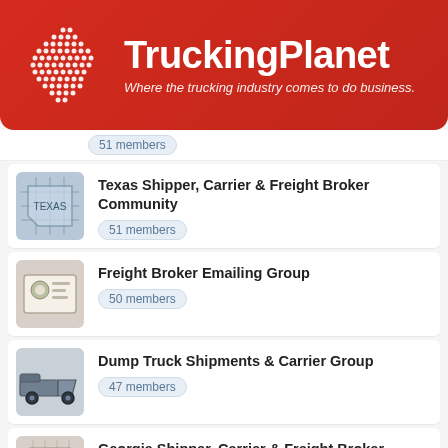[Figure (logo): TruckingPlanet logo with white dot-globe icon on red banner background. Tagline: Where the trucking industry comes to do business.]
51 members (partial item at top)
Texas Shipper, Carrier & Freight Broker Community — 51 members
Freight Broker Emailing Group — 50 members
Dump Truck Shipments & Carrier Group — 47 members
Georgia Shipper, Carrier & Freight Broker Community — 43 members
North Carolina Shipper, Carrier & Freight Broker Community — 40 members